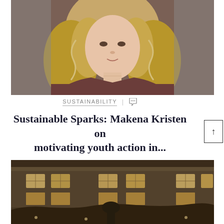[Figure (photo): Portrait photo of a woman with long curly blonde hair wearing a dark brown/mauve top, photographed from chest up against a gray background]
SUSTAINABILITY | 🗨
Sustainable Sparks: Makena Kristen on motivating youth action in...
AUGUST 30, 2022
[Figure (photo): Sepia-toned nighttime exterior photo of a grand stone building with lit windows, with a silhouette of a person in the foreground]